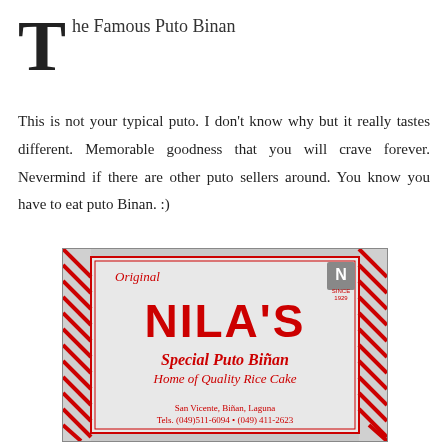The Famous Puto Binan
This is not your typical puto. I don't know why but it really tastes different. Memorable goodness that you will crave forever. Nevermind if there are other puto sellers around. You know you have to eat puto Binan. :)
[Figure (photo): Nila's Special Puto Binan packaging box — white box with red and white diagonal striped borders, red text reading 'Original', 'NILA'S', 'Special Puto Biñan', 'Home of Quality Rice Cake', 'San Vicente, Biñan, Laguna', 'Tels. (049)511-6094 • (049) 411-2623', small N logo in top right corner with 'SINCE 1929']